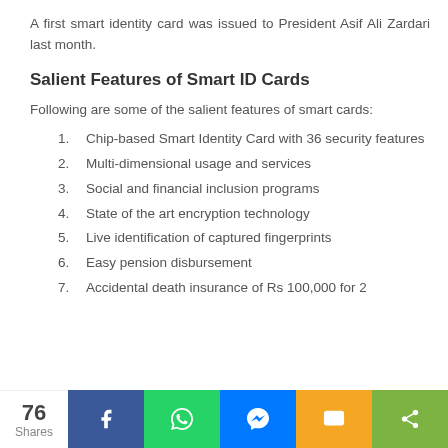A first smart identity card was issued to President Asif Ali Zardari last month.
Salient Features of Smart ID Cards
Following are some of the salient features of smart cards:
1. Chip-based Smart Identity Card with 36 security features
2. Multi-dimensional usage and services
3. Social and financial inclusion programs
4. State of the art encryption technology
5. Live identification of captured fingerprints
6. Easy pension disbursement
7. Accidental death insurance of Rs 100,000 for 2
76 Shares